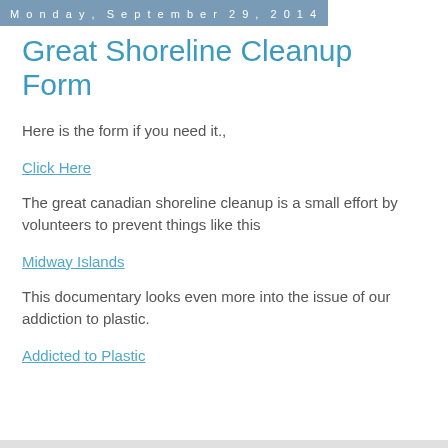Monday, September 29, 2014
Great Shoreline Cleanup Form
Here is the form if you need it.,
Click Here
The great canadian shoreline cleanup is a small effort by volunteers to prevent things like this
Midway Islands
This documentary looks even more into the issue of our addiction to plastic.
Addicted to Plastic